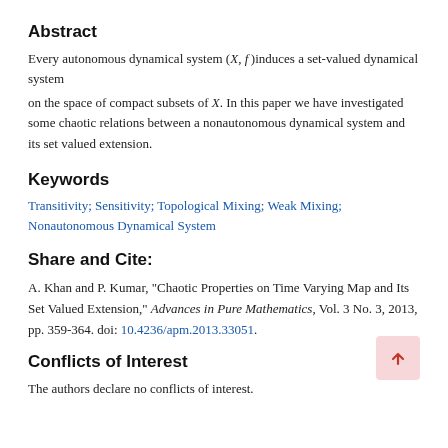Abstract
Every autonomous dynamical system (X, f) induces a set-valued dynamical system on the space of compact subsets of X. In this paper we have investigated some chaotic relations between a nonautonomous dynamical system and its set valued extension.
Keywords
Transitivity; Sensitivity; Topological Mixing; Weak Mixing; Nonautonomous Dynamical System
Share and Cite:
A. Khan and P. Kumar, "Chaotic Properties on Time Varying Map and Its Set Valued Extension," Advances in Pure Mathematics, Vol. 3 No. 3, 2013, pp. 359-364. doi: 10.4236/apm.2013.33051.
Conflicts of Interest
The authors declare no conflicts of interest.